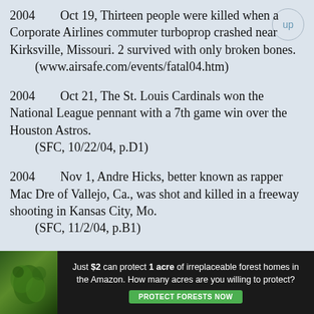2004    Oct 19, Thirteen people were killed when a Corporate Airlines commuter turboprop crashed near Kirksville, Missouri. 2 survived with only broken bones.
    (www.airsafe.com/events/fatal04.htm)
2004    Oct 21, The St. Louis Cardinals won the National League pennant with a 7th game win over the Houston Astros.
    (SFC, 10/22/04, p.D1)
2004    Nov 1, Andre Hicks, better known as rapper Mac Dre of Vallejo, Ca., was shot and killed in a freeway shooting in Kansas City, Mo.
    (SFC, 11/2/04, p.B1)
2004    Nov 2, Mat Blunt (R) was elected governor of Missouri.
    (SFC, 11/4/04, p.A18)
2004    Dec 16, Bobbie Jo Stinnet (23) was found strangled to death in Maryville, Mo., with
[Figure (other): Advertisement banner: 'Just $2 can protect 1 acre of irreplaceable forest homes in the Amazon. How many acres are you willing to protect?' with a green PROTECT FORESTS NOW button and a rainforest image.]